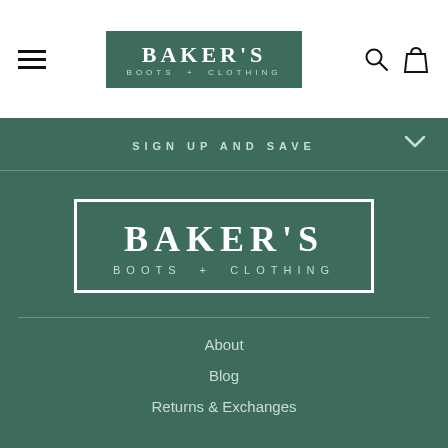Baker's Boots + Clothing navigation header
[Figure (logo): Baker's Boots + Clothing logo in green rectangle, top navigation]
SIGN UP AND SAVE
[Figure (logo): Baker's Boots + Clothing large white logo on green background]
About
Blog
Returns & Exchanges